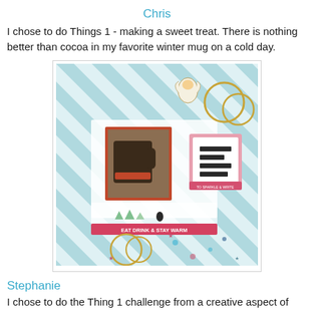Chris
I chose to do Things 1 - making a sweet treat.  There is nothing better than cocoa in my favorite winter mug on a cold day.
[Figure (photo): Scrapbook layout on mint/white diagonal striped background with a photo of a mug, decorative tags, gold rings, an angel clip, and text reading 'EAT DRINK & STAY WARM']
Stephanie
I chose to do the Thing 1 challenge from a creative aspect of